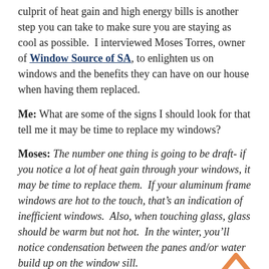culprit of heat gain and high energy bills is another step you can take to make sure you are staying as cool as possible.  I interviewed Moses Torres, owner of Window Source of SA, to enlighten us on windows and the benefits they can have on our house when having them replaced.
Me: What are some of the signs I should look for that tell me it may be time to replace my windows?
Moses: The number one thing is going to be draft- if you notice a lot of heat gain through your windows, it may be time to replace them.  If your aluminum frame windows are hot to the touch, that's an indication of inefficient windows.  Also, when touching glass, glass should be warm but not hot.  In the winter, you'll notice condensation between the panes and/or water build up on the window sill.
Me: What type of window encasement material do